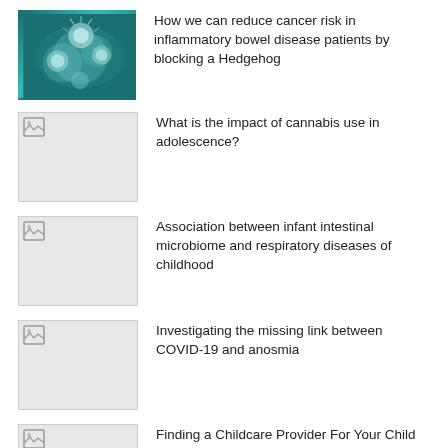[Figure (photo): Microscopic image of cancer cells, teal/blue tones]
How we can reduce cancer risk in inflammatory bowel disease patients by blocking a Hedgehog
[Figure (photo): Broken image placeholder]
What is the impact of cannabis use in adolescence?
[Figure (photo): Broken image placeholder]
Association between infant intestinal microbiome and respiratory diseases of childhood
[Figure (photo): Broken image placeholder]
Investigating the missing link between COVID-19 and anosmia
[Figure (photo): Broken image placeholder, partially visible]
Finding a Childcare Provider For Your Child With